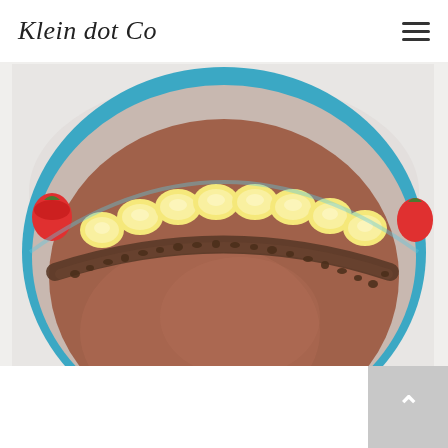Klein dot Co
[Figure (photo): Top-down view of a smoothie bowl in a blue bowl filled with a chocolate-colored smoothie base, topped with sliced bananas arranged in a row, cacao nibs/toppings in a curved line, and a strawberry visible at the edge.]
Chocolate Strawberry Banana